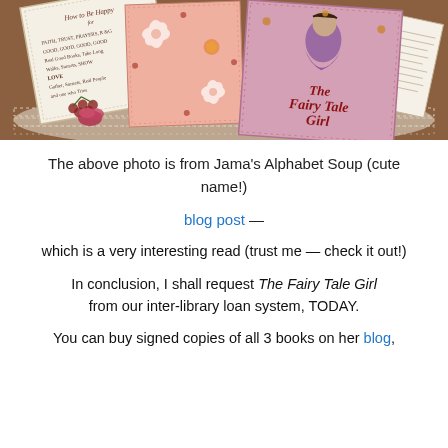[Figure (photo): Photo of book covers including 'The Fairy Tale Girl' arranged on a lace doily surface, from Jama's Alphabet Soup blog]
The above photo is from Jama’s Alphabet Soup (cute name!)
blog post —
which is a very interesting read (trust me — check it out!)
In conclusion, I shall request The Fairy Tale Girl from our inter-library loan system, TODAY.
You can buy signed copies of all 3 books on her blog,